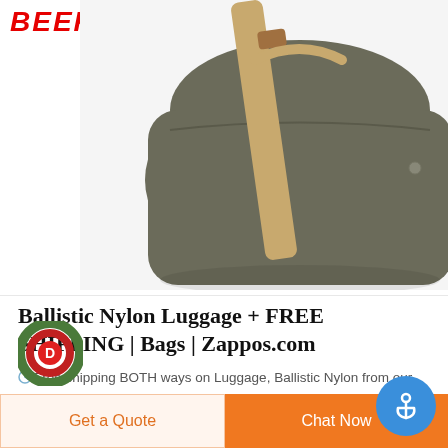BEEKON
[Figure (photo): Gray ballistic nylon bag/luggage with tan/khaki canvas shoulder strap, photographed on white background from above-front angle]
Ballistic Nylon Luggage + FREE SHIPPING | Bags | Zappos.com
Free shipping BOTH ways on Luggage, Ballistic Nylon from our vast selection of styles. Fast delivery, and 24/7/365 real-person service with a smile. Click or call 800-927-7671.
[Figure (logo): Circular logo with green and red ring pattern and red letter D in center]
[Figure (logo): Blue circular anchor button/badge]
Get a Quote
Chat Now